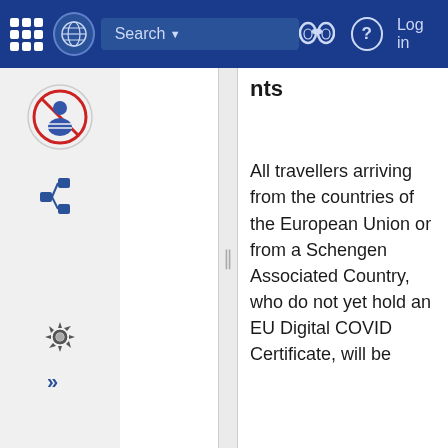Search  Log in
nts
All travellers arriving from the countries of the European Union or from a Schengen Associated Country, who do not yet hold an EU Digital COVID Certificate, will be